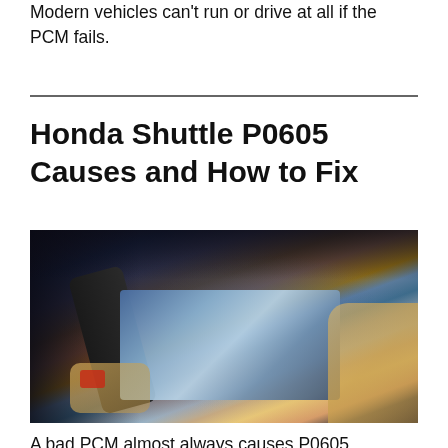Modern vehicles can't run or drive at all if the PCM fails.
Honda Shuttle P0605 Causes and How to Fix
[Figure (photo): A person holding a diagnostic scan tool/tablet device near a vehicle, showing the screen of the device]
A bad PCM almost always causes P0605